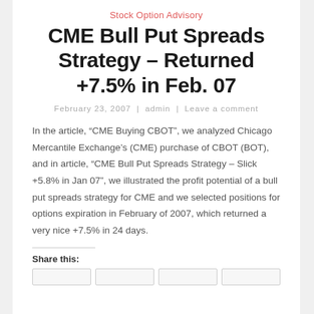Stock Option Advisory
CME Bull Put Spreads Strategy – Returned +7.5% in Feb. 07
February 23, 2007  |  admin  |  Leave a comment
In the article, “CME Buying CBOT”, we analyzed Chicago Mercantile Exchange’s (CME) purchase of CBOT (BOT), and in article, “CME Bull Put Spreads Strategy – Slick +5.8% in Jan 07”, we illustrated the profit potential of a bull put spreads strategy for CME and we selected positions for options expiration in February of 2007, which returned a very nice +7.5% in 24 days.
Share this: